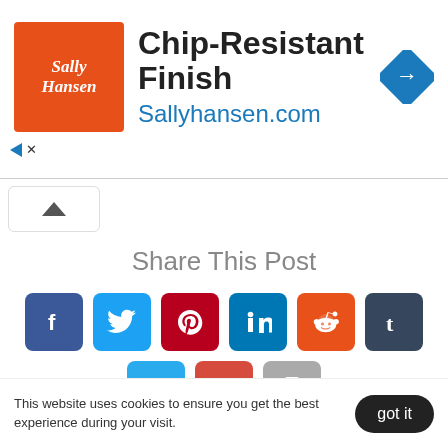[Figure (screenshot): Advertisement banner for Sally Hansen: orange logo on left, bold text 'Chip-Resistant Finish' and blue URL 'Sallyhansen.com', blue diamond navigation arrow on right]
[Figure (screenshot): Share This Post section with 9 social media icon buttons: Facebook, Twitter, Pinterest, LinkedIn, Reddit, Tumblr (top row), Telegram, Email, Print (bottom row)]
Creative Growing, Gardening in Ohio, Miniature Gardening
This website uses cookies to ensure you get the best experience during your visit.